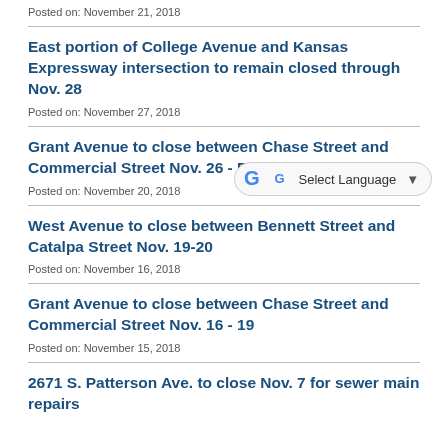Posted on: November 21, 2018
East portion of College Avenue and Kansas Expressway intersection to remain closed through Nov. 28
Posted on: November 27, 2018
Grant Avenue to close between Chase Street and Commercial Street Nov. 26 - Dec. 3
Posted on: November 20, 2018
West Avenue to close between Bennett Street and Catalpa Street Nov. 19-20
Posted on: November 16, 2018
Grant Avenue to close between Chase Street and Commercial Street Nov. 16 - 19
Posted on: November 15, 2018
2671 S. Patterson Ave. to close Nov. 7 for sewer main repairs